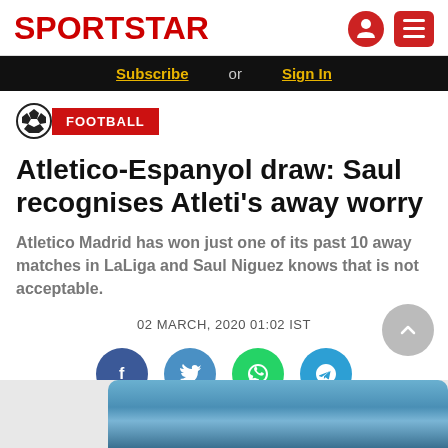SPORTSTAR
Subscribe or Sign In
FOOTBALL
Atletico-Espanyol draw: Saul recognises Atleti's away worry
Atletico Madrid has won just one of its past 10 away matches in LaLiga and Saul Niguez knows that is not acceptable.
02 MARCH, 2020 01:02 IST
[Figure (other): Social share buttons: Facebook, Twitter, WhatsApp, Telegram]
[Figure (photo): Partial photo preview at bottom of page showing sports scene]